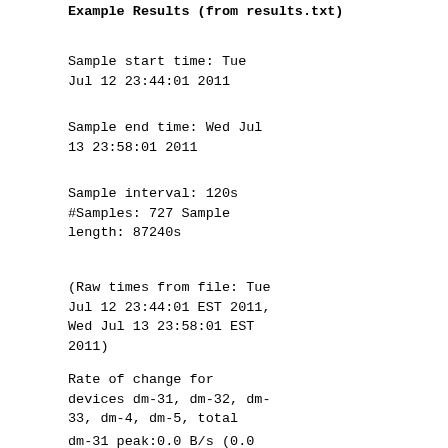Example Results (from results.txt)
Sample start time: Tue Jul 12 23:44:01 2011
Sample end time: Wed Jul 13 23:58:01 2011
Sample interval: 120s
#Samples: 727 Sample length: 87240s
(Raw times from file: Tue Jul 12 23:44:01 EST 2011, Wed Jul 13 23:58:01 EST 2011)
Rate of change for devices dm-31, dm-32, dm-33, dm-4, dm-5, total
dm-31 peak:0.0 B/s (0.0